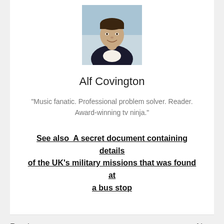[Figure (photo): Headshot photo of Alf Covington, a young man in a dark jacket smiling, against a light blue background]
Alf Covington
"Music fanatic. Professional problem solver. Reader. Award-winning tv ninja."
See also  A secret document containing details of the UK's military missions that was found at a bus stop
Previous
French woman sentenced to prison for selling fake vaccination certificates –
Next
The Mexican n scandals for fea vaccine and the video